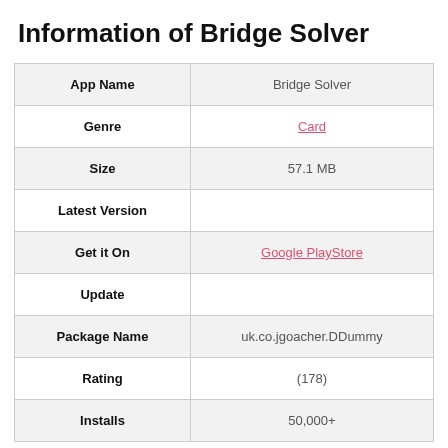Information of Bridge Solver
|  |  |
| --- | --- |
| App Name | Bridge Solver |
| Genre | Card |
| Size | 57.1 MB |
| Latest Version |  |
| Get it On | Google PlayStore |
| Update |  |
| Package Name | uk.co.jgoacher.DDummy |
| Rating | (178) |
| Installs | 50,000+ |